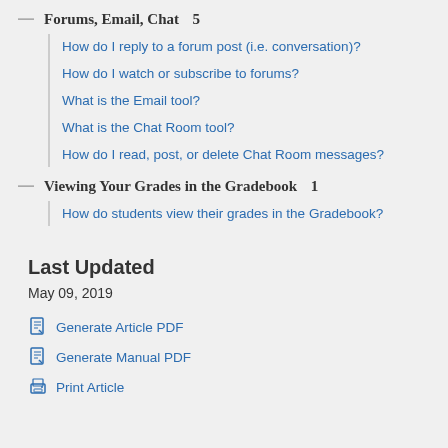Forums, Email, Chat  5
How do I reply to a forum post (i.e. conversation)?
How do I watch or subscribe to forums?
What is the Email tool?
What is the Chat Room tool?
How do I read, post, or delete Chat Room messages?
Viewing Your Grades in the Gradebook  1
How do students view their grades in the Gradebook?
Last Updated
May 09, 2019
Generate Article PDF
Generate Manual PDF
Print Article